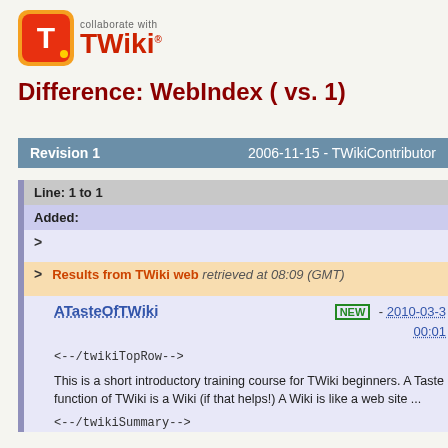[Figure (logo): TWiki logo with orange T icon and text 'collaborate with TWiki']
Difference: WebIndex ( vs. 1)
| Revision 1 | 2006-11-15 - TWikiContributor |
| --- | --- |
Line: 1 to 1
Added:
>
> Results from TWiki web retrieved at 08:09 (GMT)
ATasteOfTWiki NEW - 2010-03-3 00:01
<--/twikiTopRow-->
This is a short introductory training course for TWiki beginners. A Taste function of TWiki is a Wiki (if that helps!) A Wiki is like a web site ...
<--/twikiSummary-->